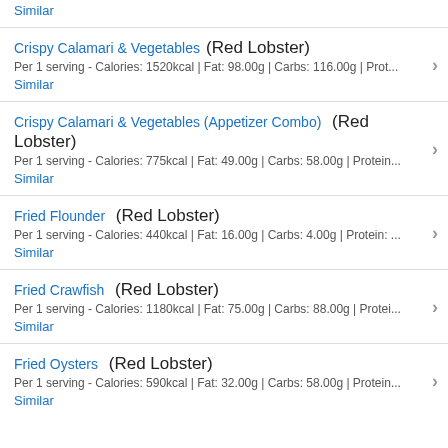Similar
Crispy Calamari & Vegetables (Red Lobster)
Per 1 serving - Calories: 1520kcal | Fat: 98.00g | Carbs: 116.00g | Prot...
Similar
Crispy Calamari & Vegetables (Appetizer Combo) (Red Lobster)
Per 1 serving - Calories: 775kcal | Fat: 49.00g | Carbs: 58.00g | Protein...
Similar
Fried Flounder (Red Lobster)
Per 1 serving - Calories: 440kcal | Fat: 16.00g | Carbs: 4.00g | Protein: ...
Similar
Fried Crawfish (Red Lobster)
Per 1 serving - Calories: 1180kcal | Fat: 75.00g | Carbs: 88.00g | Protei...
Similar
Fried Oysters (Red Lobster)
Per 1 serving - Calories: 590kcal | Fat: 32.00g | Carbs: 58.00g | Protein...
Similar